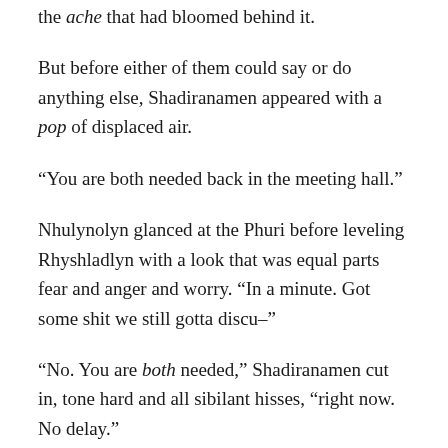the ache that had bloomed behind it.
But before either of them could say or do anything else, Shadiranamen appeared with a pop of displaced air.
“You are both needed back in the meeting hall.”
Nhulynolyn glanced at the Phuri before leveling Rhyshladlyn with a look that was equal parts fear and anger and worry. “In a minute. Got some shit we still gotta discu–”
“No. You are both needed,” Shadiranamen cut in, tone hard and all sibilant hisses, “right now. No delay.”